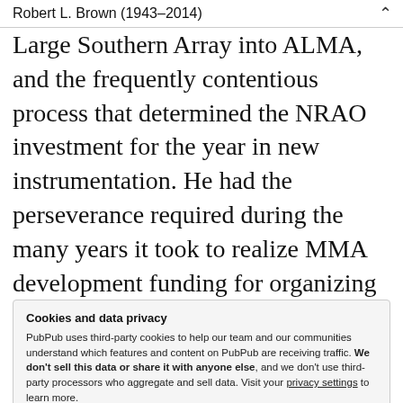Robert L. Brown (1943–2014)
Large Southern Array into ALMA, and the frequently contentious process that determined the NRAO investment for the year in new instrumentation. He had the perseverance required during the many years it took to realize MMA development funding for organizing workshops, conferences, and keeping the project alive.
Cookies and data privacy
PubPub uses third-party cookies to help our team and our communities understand which features and content on PubPub are receiving traffic. We don't sell this data or share it with anyone else, and we don't use third-party processors who aggregate and sell data. Visit your privacy settings to learn more.
northern Chile. He immediately